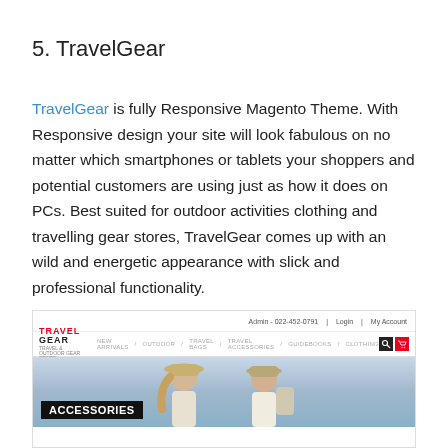5. TravelGear
TravelGear is fully Responsive Magento Theme. With Responsive design your site will look fabulous on no matter which smartphones or tablets your shoppers and potential customers are using just as how it does on PCs. Best suited for outdoor activities clothing and travelling gear stores, TravelGear comes up with an wild and energetic appearance with slick and professional functionality.
[Figure (screenshot): Screenshot of the TravelGear Magento theme showing the website header with the Travel Gear logo in red and black, navigation menu with items: NEW ARRIVALS, OUTDOOR, TRAVEL BAGS, TRAVEL ACCESSORIES, GUIDEBOOKS, CLOTHING, search and cart icons, and a hero image of two people wearing hats with an ACCESSORIES label overlay.]